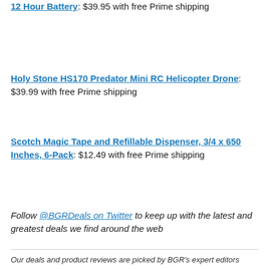12 Hour Battery: $39.95 with free Prime shipping
Holy Stone HS170 Predator Mini RC Helicopter Drone: $39.99 with free Prime shipping
Scotch Magic Tape and Refillable Dispenser, 3/4 x 650 Inches, 6-Pack: $12.49 with free Prime shipping
Follow @BGRDeals on Twitter to keep up with the latest and greatest deals we find around the web
Our deals and product reviews are picked by BGR's expert editors